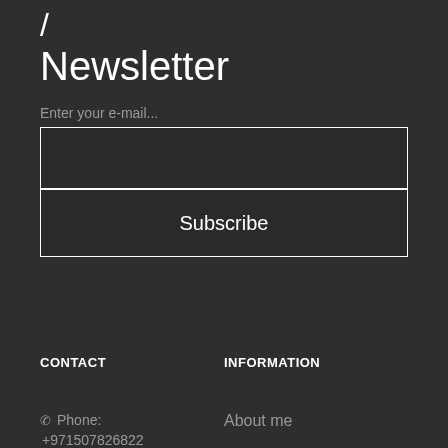/
Newsletter
Enter your e-mail...
[Figure (other): Email input text field with white border on dark background]
[Figure (other): Subscribe button with white border on dark background]
CONTACT
INFORMATION
Phone:
+971507826822
About me